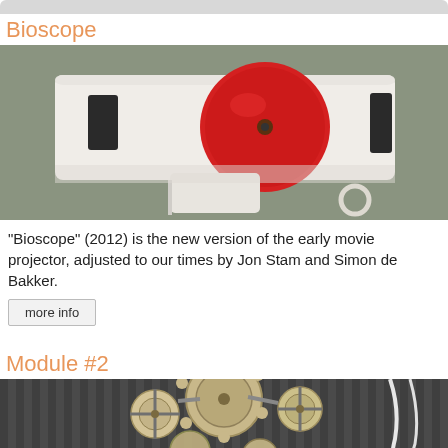[Figure (photo): Partial top of a gray rounded rectangle element (previous section's image, cropped)]
Bioscope
[Figure (photo): Photo of the Bioscope device — a white plastic gun-shaped movie projector with a large red circular disc on top, sitting on a gray-green surface with a small white ring nearby]
"Bioscope" (2012) is the new version of the early movie projector, adjusted to our times by Jon Stam and Simon de Bakker.
more info
Module #2
[Figure (photo): Photo of a complex mechanical clockwork or gear assembly made of light-colored (wooden or cream) interlocking parts, photographed against a dark striped background]